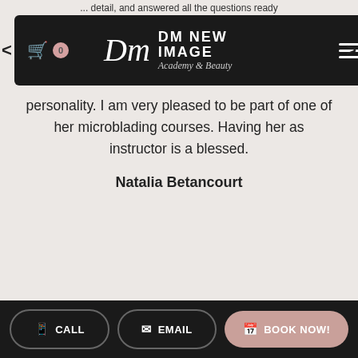... detail, and answered all the questions ready
[Figure (screenshot): DM New Image Academy & Beauty navigation bar with cart icon, logo, and hamburger menu on dark background]
personality. I am very pleased to be part of one of her microblading courses. Having her as instructor is a blessed.
Natalia Betancourt
CALL   EMAIL   BOOK NOW!